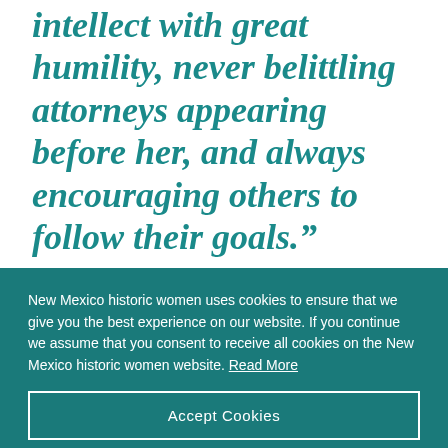intellect with great humility, never belittling attorneys appearing before her, and always encouraging others to follow their goals.”
New Mexico historic women uses cookies to ensure that we give you the best experience on our website. If you continue we assume that you consent to receive all cookies on the New Mexico historic women website. Read More
Accept Cookies